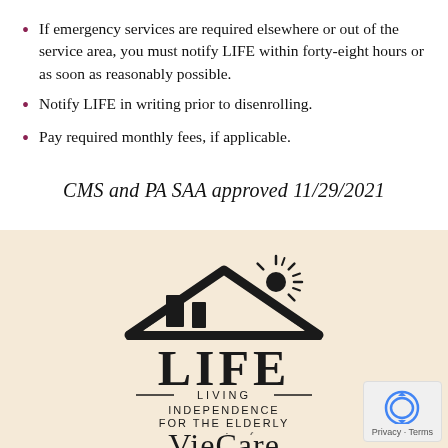If emergency services are required elsewhere or out of the service area, you must notify LIFE within forty-eight hours or as soon as reasonably possible.
Notify LIFE in writing prior to disenrolling.
Pay required monthly fees, if applicable.
CMS and PA SAA approved 11/29/2021
[Figure (logo): LIFE - Living Independence For The Elderly, a service of VieCare logo with house and sun graphic in black on cream background]